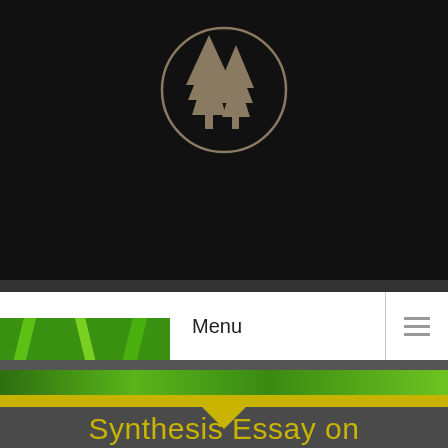[Figure (logo): Pine tree logo — two stylized evergreen/conifer trees inside a circular outline, rendered in tan/brown on black background]
Menu
[Figure (photo): Close-up macro photograph of green grass blades with water droplets]
Synthesis Essay on